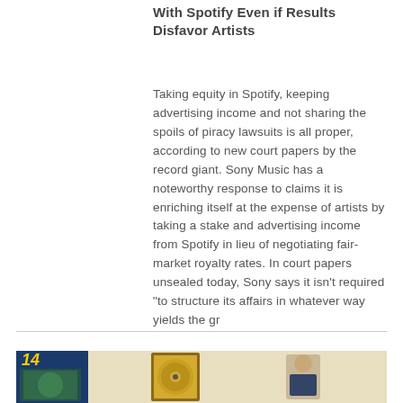With Spotify Even if Results Disfavor Artists
Taking equity in Spotify, keeping advertising income and not sharing the spoils of piracy lawsuits is all proper, according to new court papers by the record giant. Sony Music has a noteworthy response to claims it is enriching itself at the expense of artists by taking a stake and advertising income from Spotify in lieu of negotiating fair-market royalty rates. In court papers unsealed today, Sony says it isn't required "to structure its affairs in whatever way yields the gr
[Figure (photo): Photo of a man standing next to a framed gold record award, with a colorful book/display on the left side against a dark background]